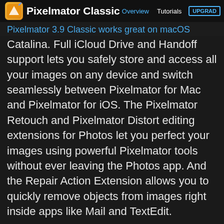Pixelmator Classic  Overview  Tutorials  UPGRADE
Pixelmator 3.9 Classic works great on macOS
Catalina. Full iCloud Drive and Handoff support lets you safely store and access all your images on any device and switch seamlessly between Pixelmator for Mac and Pixelmator for iOS. The Pixelmator Retouch and Pixelmator Distort editing extensions for Photos let you perfect your images using powerful Pixelmator tools without ever leaving the Photos app. And the Repair Action Extension allows you to quickly remove objects from images right inside apps like Mail and TextEdit.